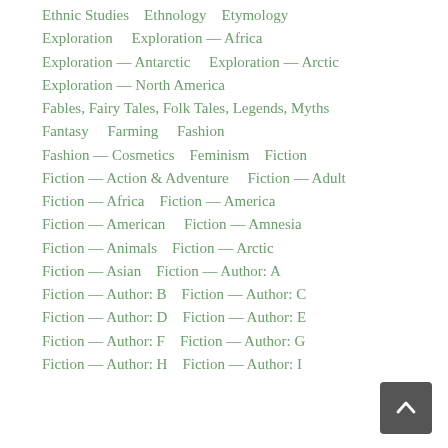Ethnic Studies    Ethnology    Etymology
Exploration    Exploration — Africa
Exploration — Antarctic    Exploration — Arctic
Exploration — North America
Fables, Fairy Tales, Folk Tales, Legends, Myths
Fantasy    Farming    Fashion
Fashion — Cosmetics    Feminism    Fiction
Fiction — Action & Adventure    Fiction — Adult
Fiction — Africa    Fiction — America
Fiction — American    Fiction — Amnesia
Fiction — Animals    Fiction — Arctic
Fiction — Asian    Fiction — Author: A
Fiction — Author: B    Fiction — Author: C
Fiction — Author: D    Fiction — Author: E
Fiction — Author: F    Fiction — Author: G
Fiction — Author: H    Fiction — Author: I